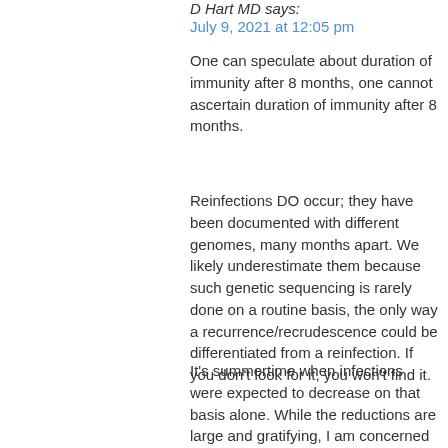D Hart MD says:
July 9, 2021 at 12:05 pm
One can speculate about duration of immunity after 8 months, one cannot ascertain duration of immunity after 8 months.
Reinfections DO occur; they have been documented with different genomes, many months apart. We likely underestimate them because such genetic sequencing is rarely done on a routine basis, the only way a recurrence/recrudescence could be differentiated from a reinfection. If you don't look for it, you won't find it.
It's summertime when infections were expected to decrease on that basis alone. While the reductions are large and gratifying, I am concerned that there will be increases (unfortunately, already